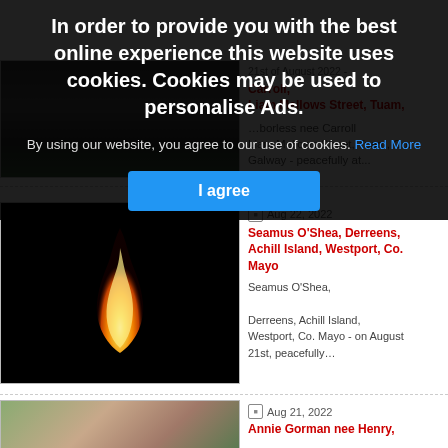[Figure (screenshot): Cookie consent overlay on a news/obituary website]
In order to provide you with the best online experience this website uses cookies. Cookies may be used to personalise Ads.
By using our website, you agree to our use of cookies. Read More
I agree
[Figure (photo): Partially visible obituary entry with red/link text: Carroll, Liam Mellows Street, Tuam, ...borless nee Carroll, Liam Mellows Street, Tuam, Co. Galway - peacefully at...]
[Figure (photo): Flame candle image on black background for obituary of Seamus O'Shea]
Aug 22, 2022
Seamus O'Shea, Derreens, Achill Island, Westport, Co. Mayo
Seamus O'Shea,

Derreens, Achill Island, Westport, Co. Mayo - on August 21st, peacefully…
[Figure (photo): Partial photo of a person for obituary of Annie Gorman nee Henry]
Aug 21, 2022
Annie Gorman nee Henry,